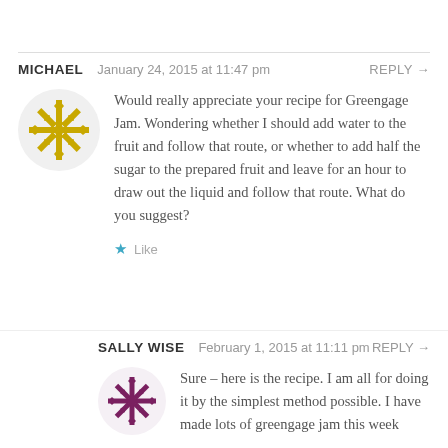MICHAEL  January 24, 2015 at 11:47 pm  REPLY →
[Figure (illustration): Golden/yellow geometric snowflake pattern avatar for user Michael]
Would really appreciate your recipe for Greengage Jam. Wondering whether I should add water to the fruit and follow that route, or whether to add half the sugar to the prepared fruit and leave for an hour to draw out the liquid and follow that route. What do you suggest?
★ Like
SALLY WISE  February 1, 2015 at 11:11 pm  REPLY →
[Figure (illustration): Purple/maroon geometric diamond pattern avatar for user Sally Wise]
Sure – here is the recipe. I am all for doing it by the simplest method possible. I have made lots of greengage jam this week